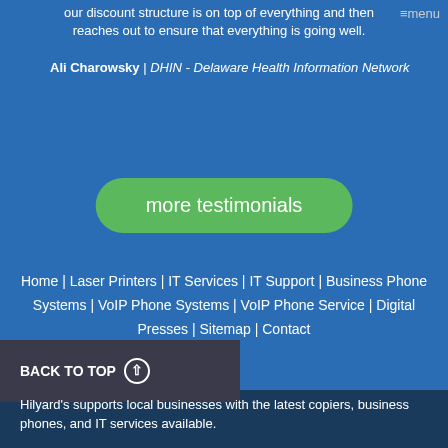our discount structure is on top of everything and then reaches out to ensure that everything is going well.
Ali Charowsky | DHIN - Delaware Health Information Network
more testimonials
Home | Laser Printers | IT Services | IT Support | Business Phone Systems | VoIP Phone Systems | VoIP Phone Service | Digital Presses | Sitemap | Contact
BACK TO TOP
Hilyard's supports local businesses with the latest copiers, business phones, and IT services available.